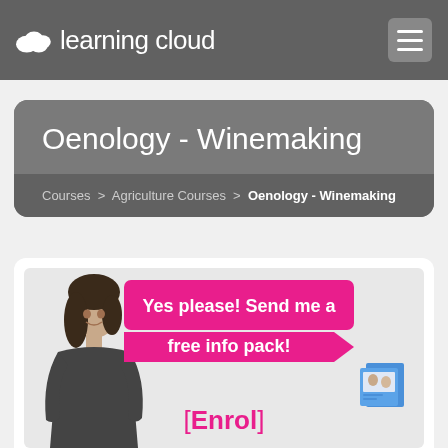learning cloud
Oenology - Winemaking
Courses > Agriculture Courses > Oenology - Winemaking
[Figure (illustration): Promotional banner with a woman in black and white photo on the left, pink speech bubble saying 'Yes please! Send me a free info pack!' with an arrow shape, '[Enrol]' text in pink at the bottom center, and a small image of info packs in the bottom right corner.]